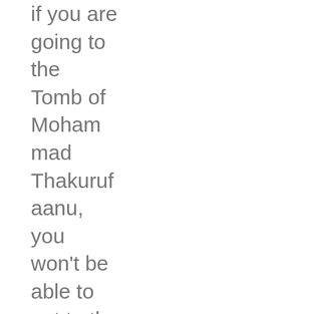if you are going to the Tomb of Mohammad Thakurfaanu, you won't be able to get to the airport's air-conditioned area until the